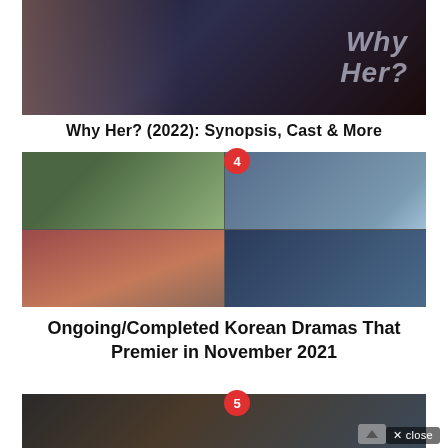[Figure (photo): Korean drama promotional image for 'Why Her?' showing a woman's face with dramatic lighting and text overlay reading 'Why Her?']
Why Her? (2022): Synopsis, Cast & More
[Figure (photo): Collage of four Korean drama scenes showing various characters including a man in a green jacket, a woman in beige, historical drama scenes with colorful costumes, and a prison scene]
Ongoing/Completed Korean Dramas That Premier in November 2021
[Figure (photo): Partial view of another Korean drama promotional image showing dimly lit scene with people in a library or similar setting]